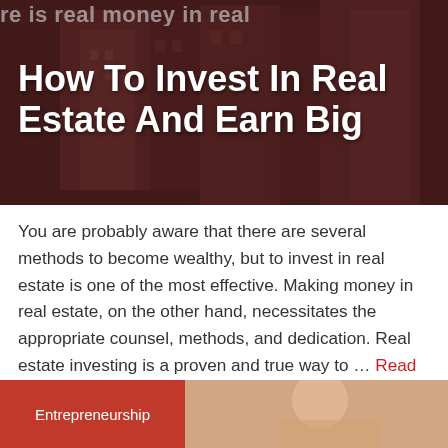re is real money in real
[Figure (photo): Overhead view of real estate buildings with dark brownish-red overlay tint]
How To Invest In Real Estate And Earn Big
You are probably aware that there are several methods to become wealthy, but to invest in real estate is one of the most effective. Making money in real estate, on the other hand, necessitates the appropriate counsel, methods, and dedication. Real estate investing is a proven and true way to … Read more
[Figure (photo): Bottom card with Entrepreneurship tag in red and a photo partially visible on the right]
Entrepreneurship